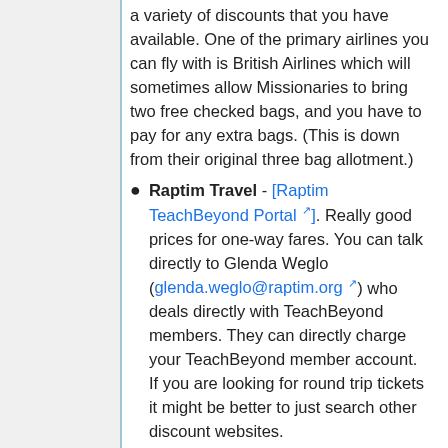a variety of discounts that you have available. One of the primary airlines you can fly with is British Airlines which will sometimes allow Missionaries to bring two free checked bags, and you have to pay for any extra bags. (This is down from their original three bag allotment.)
Raptim Travel - [Raptim TeachBeyond Portal]. Really good prices for one-way fares. You can talk directly to Glenda Weglo (glenda.weglo@raptim.org) who deals directly with TeachBeyond members. They can directly charge your TeachBeyond member account. If you are looking for round trip tickets it might be better to just search other discount websites.
SIAMA - can get extra luggage and one way tickets for a reasonable